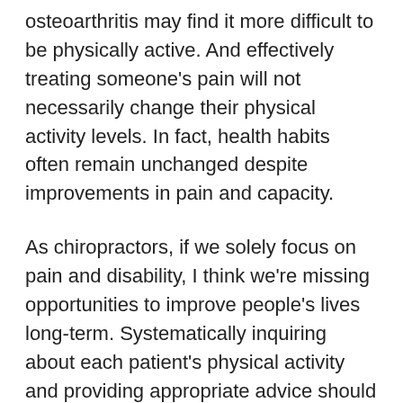osteoarthritis may find it more difficult to be physically active. And effectively treating someone's pain will not necessarily change their physical activity levels. In fact, health habits often remain unchanged despite improvements in pain and capacity.
As chiropractors, if we solely focus on pain and disability, I think we're missing opportunities to improve people's lives long-term. Systematically inquiring about each patient's physical activity and providing appropriate advice should become the standard of care for patients with musculoskeletal disorders. “For chiropractors” assessment...